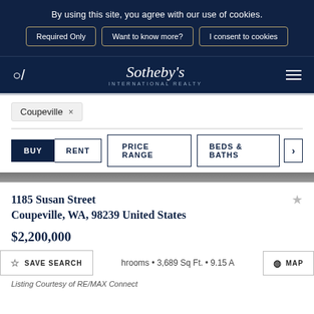By using this site, you agree with our use of cookies.
Required Only
Want to know more?
I consent to cookies
[Figure (logo): Sotheby's International Realty logo]
Coupeville ×
BUY
RENT
PRICE RANGE
BEDS & BATHS
1185 Susan Street
Coupeville, WA, 98239 United States
$2,200,000
hrooms • 3,689 Sq Ft. • 9.15 A
SAVE SEARCH
MAP
Listing Courtesy of RE/MAX Connect